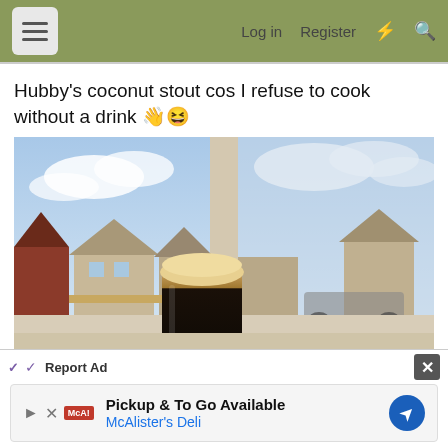Log in  Register
Hubby's coconut stout cos I refuse to cook without a drink 👋😆
[Figure (photo): A dark stout beer with a creamy tan head in a glass, sitting on a windowsill with a view of suburban houses and a cloudy blue sky outside.]
Report Ad
Pickup & To Go Available
McAlister's Deli